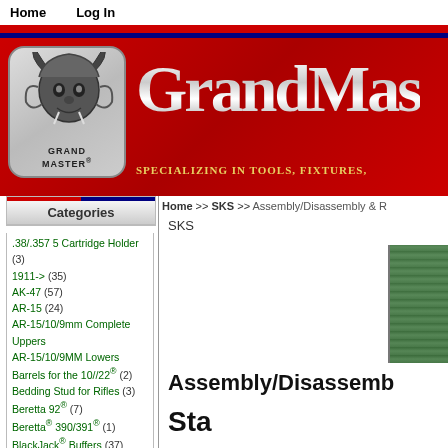Home  Log In
[Figure (logo): GrandMaster logo with creature/warrior illustration and text GRAND MASTER, with red banner background and silver text GrandMas, Specializing in tools, fixtures...]
Home >> SKS >> Assembly/Disassembly & R
SKS
Categories
.38/.357 5 Cartridge Holder (3)
1911-> (35)
AK-47 (57)
AR-15 (24)
AR-15/10/9mm Complete Uppers
AR-15/10/9MM Lowers
Barrels for the 10//22® (2)
Bedding Stud for Rifles (3)
Beretta 92® (7)
Beretta® 390/391® (1)
BlackJack® Buffers (37)
Books/Videos (15)
Brass
Browing HP (37)
Buffer Tech (18)
Business Card Holder
Cleaning & Lubrication (3)
Assembly/Disassemb
Sta